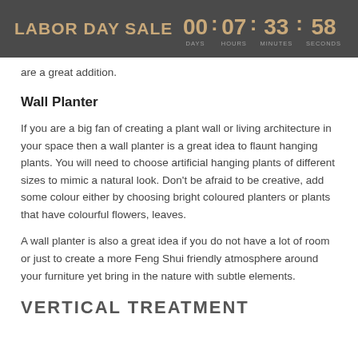LABOR DAY SALE  00 DAYS  07 : HOURS  33 : MINUTES  58 SECONDS
are a great addition.
Wall Planter
If you are a big fan of creating a plant wall or living architecture in your space then a wall planter is a great idea to flaunt hanging plants. You will need to choose artificial hanging plants of different sizes to mimic a natural look. Don't be afraid to be creative, add some colour either by choosing bright coloured planters or plants that have colourful flowers, leaves.
A wall planter is also a great idea if you do not have a lot of room or just to create a more Feng Shui friendly atmosphere around your furniture yet bring in the nature with subtle elements.
VERTICAL TREATMENT